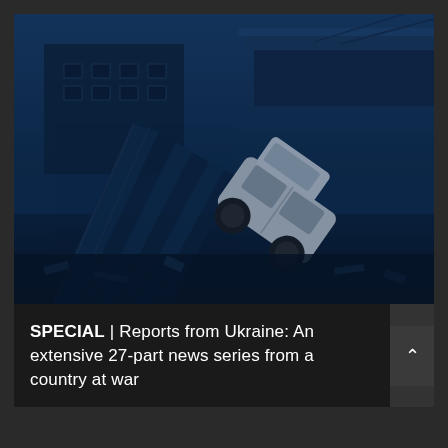[Figure (photo): War damage photograph: A destroyed vehicle overturned on collapsed bridge infrastructure, heavily damaged with debris, rendered in a dark blue monochromatic tone suggesting a war-torn scene in Ukraine.]
SPECIAL | Reports from Ukraine: An extensive 27-part news series from a country at war